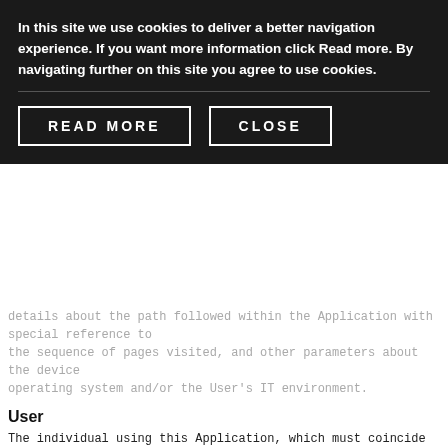In this site we use cookies to deliver a better navigation experience. If you want more information click Read more. By navigating further on this site you agree to use cookies.
READ MORE
CLOSE
details about the path followed within the Application with special reference to the sequence of pages visited, and other parameters about the device operating system and/or the User's IT environment.
User
The individual using this Application, which must coincide with or be authorized by the Data Subject, to whom the Personal Data refer.
Data Subject
The legal or natural person to whom the Personal Data refers.
Data Processor (or Data Supervisor)
The natural person, legal person, public administration or any other body, association or organization authorized by the Data Controller to process the Personal Data in compliance with this privacy policy.
Data Controller (or Owner)